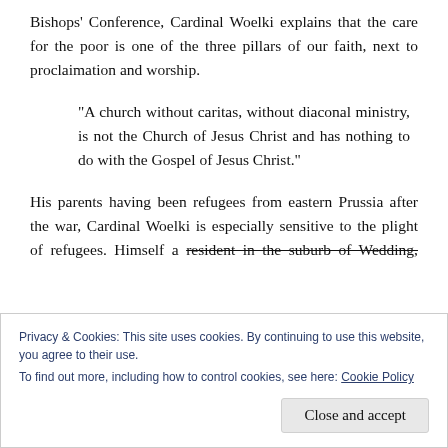Bishops' Conference, Cardinal Woelki explains that the care for the poor is one of the three pillars of our faith, next to proclaimation and worship.
“A church without caritas, without diaconal ministry, is not the Church of Jesus Christ and has nothing to do with the Gospel of Jesus Christ.”
His parents having been refugees from eastern Prussia after the war, Cardinal Woelki is especially sensitive to the plight of refugees. Himself a resident in the suburb of Wedding, where his
Privacy & Cookies: This site uses cookies. By continuing to use this website, you agree to their use.
To find out more, including how to control cookies, see here: Cookie Policy
Close and accept